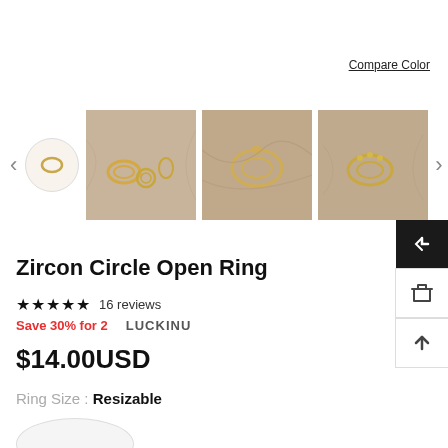Compare Color
[Figure (photo): Product gallery showing ring thumbnail (small oval ring icon), and three product photos of gold rings on beige/tan silk fabric background]
Zircon Circle Open Ring
★★★★★ 16 reviews
Save 30% for 2    LUCKINU
$14.00USD
Ring Size : Resizable
Resizable